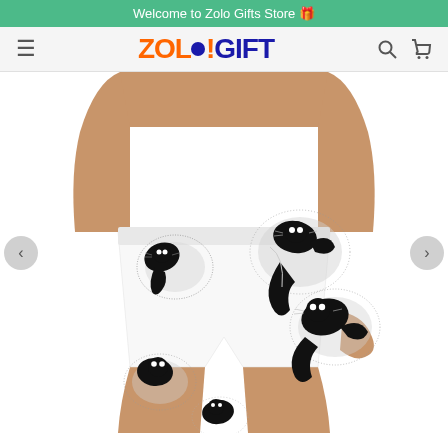Welcome to Zolo Gifts Store 🎁
[Figure (logo): ZOLO!GIFT logo with hamburger menu icon on left and search/cart icons on right in navigation bar]
[Figure (photo): Product photo of men's swim shorts/board shorts with black and white cat pattern, worn by a male model. Black cats with dotted/stippled circular bodies are printed all over white shorts. Navigation arrows on left and right sides of product image.]